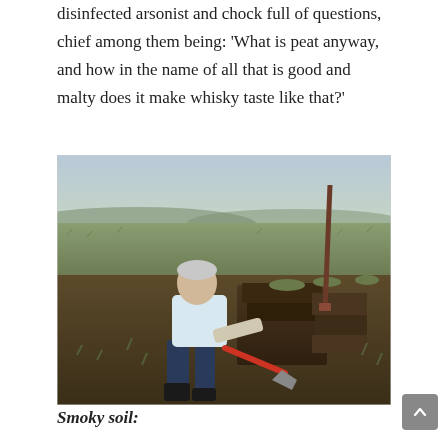disinfected arsonist and chock full of questions, chief among them being: 'What is peat anyway, and how in the name of all that is good and malty does it make whisky taste like that?'
[Figure (photo): An elderly man in a white shirt and dark trousers bends over, cutting peat from a moorland bog using a long-handled spade with a red shaft. A similar red-handled tool is stuck in the ground to the right. The landscape is open moorland with a flat, grassy horizon.]
Smoky soil: